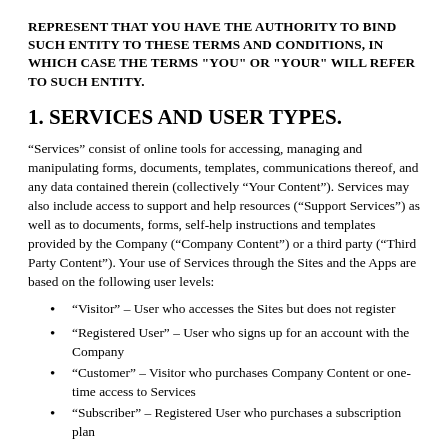REPRESENT THAT YOU HAVE THE AUTHORITY TO BIND SUCH ENTITY TO THESE TERMS AND CONDITIONS, IN WHICH CASE THE TERMS "YOU" OR "YOUR" WILL REFER TO SUCH ENTITY.
1. SERVICES AND USER TYPES.
“Services” consist of online tools for accessing, managing and manipulating forms, documents, templates, communications thereof, and any data contained therein (collectively “Your Content”). Services may also include access to support and help resources (“Support Services”) as well as to documents, forms, self-help instructions and templates provided by the Company (“Company Content”) or a third party (“Third Party Content”). Your use of Services through the Sites and the Apps are based on the following user levels:
“Visitor” – User who accesses the Sites but does not register
“Registered User” – User who signs up for an account with the Company
“Customer” – Visitor who purchases Company Content or one-time access to Services
“Subscriber” – Registered User who purchases a subscription plan